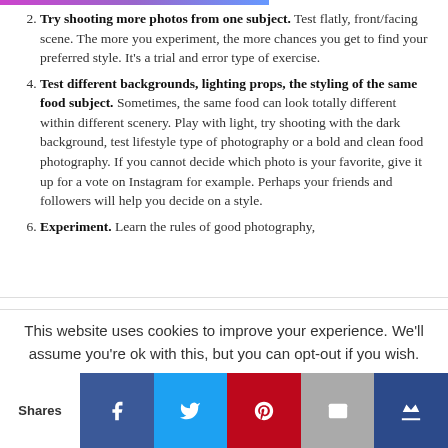Try shooting more photos from one subject. Test flatly, front/facing scene. The more you experiment, the more chances you get to find your preferred style. It's a trial and error type of exercise.
Test different backgrounds, lighting props, the styling of the same food subject. Sometimes, the same food can look totally different within different scenery. Play with light, try shooting with the dark background, test lifestyle type of photography or a bold and clean food photography. If you cannot decide which photo is your favorite, give it up for a vote on Instagram for example. Perhaps your friends and followers will help you decide on a style.
Experiment. Learn the rules of good photography,
This website uses cookies to improve your experience. We'll assume you're ok with this, but you can opt-out if you wish.
Shares [Facebook] [Twitter] [Pinterest] [Email] [Crown]